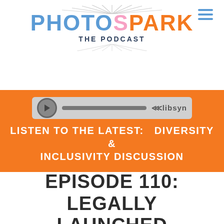[Figure (logo): PHOTOSPARK THE PODCAST logo with stylized text in blue, pink, and orange colors with spark/rays graphic]
[Figure (screenshot): Audio player bar with play button, progress bar, and libsyn branding on orange background]
LISTEN TO THE LATEST:   DIVERSITY & INCLUSIVITY DISCUSSION
EPISODE 110: LEGALLY LAUNCHED